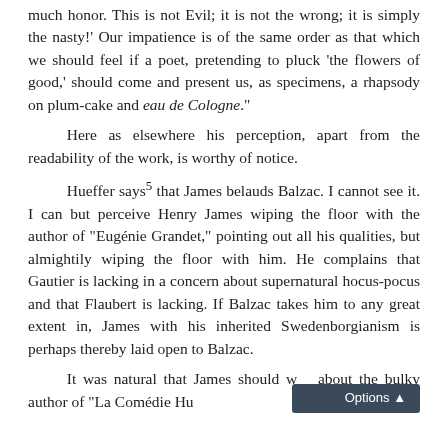much honor. This is not Evil; it is not the wrong; it is simply the nasty!' Our impatience is of the same order as that which we should feel if a poet, pretending to pluck 'the flowers of good,' should come and present us, as specimens, a rhapsody on plum-cake and eau de Cologne."

Here as elsewhere his perception, apart from the readability of the work, is worthy of notice.

Hueffer says⁵ that James belauds Balzac. I cannot see it. I can but perceive Henry James wiping the floor with the author of "Eugénie Grandet," pointing out all his qualities, but almightily wiping the floor with him. He complains that Gautier is lacking in a concern about supernatural hocus-pocus and that Flaubert is lacking. If Balzac takes him to any great extent in, James with his inherited Swedenborgianism is perhaps thereby laid open to Balzac.

It was natural that James should write about the bulky author of "La Comédie Humaine"